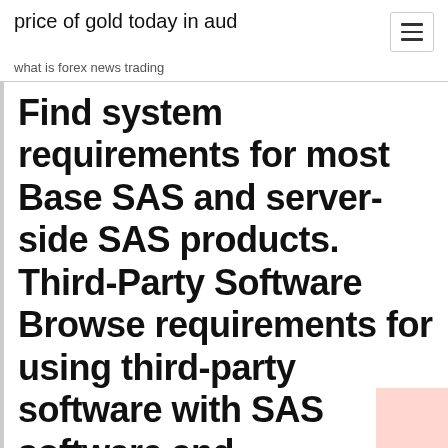price of gold today in aud
what is forex news trading
Find system requirements for most Base SAS and server-side SAS products. Third-Party Software Browse requirements for using third-party software with SAS software and applications.
Fortune Trading | Online Share and Commodity Trading Fortune is an online financial services company that facilitates dynamic trading through innovative brokerage solutions,